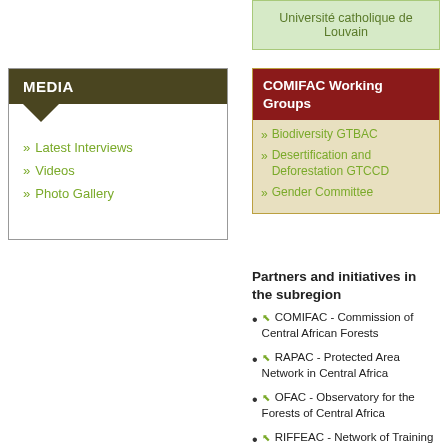Université catholique de Louvain
MEDIA
Latest Interviews
Videos
Photo Gallery
COMIFAC Working Groups
Biodiversity GTBAC
Desertification and Deforestation GTCCD
Gender Committee
Partners and initiatives in the subregion
COMIFAC - Commission of Central African Forests
RAPAC - Protected Area Network in Central Africa
OFAC - Observatory for the Forests of Central Africa
RIFFEAC - Network of Training Institutions and Environmental Forest of Central Africa
Observatoire Satellital des Forêts d'Afrique Centrale
Conference on Central African Moist Forest Ecosystems (CEFDHAC)